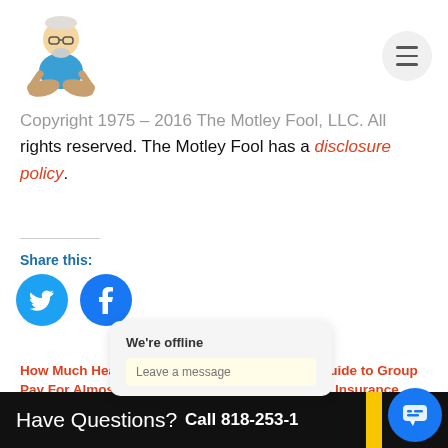[Figure (logo): Cartoon illustration of a man meditating in lotus pose, with glasses and beard, wearing blue shirt — website logo]
Copyright 1975 – 2016 The Motley Fool, LLC. All rights reserved. The Motley Fool has a disclosure policy.
Share this:
[Figure (illustration): Twitter and Facebook share icon buttons (blue circles with bird and f logos)]
How Much Health Insurers Pay For Almost Everything Is About To Go public
The Essential Guide to Group Long-Term Care Insurance
Have Questions?  Call 818-253-1